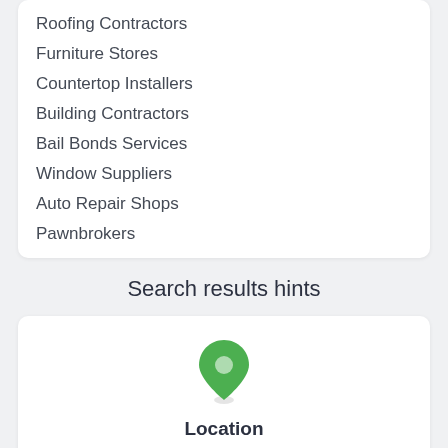Roofing Contractors
Furniture Stores
Countertop Installers
Building Contractors
Bail Bonds Services
Window Suppliers
Auto Repair Shops
Pawnbrokers
Search results hints
[Figure (illustration): Green map pin / location marker icon]
Location